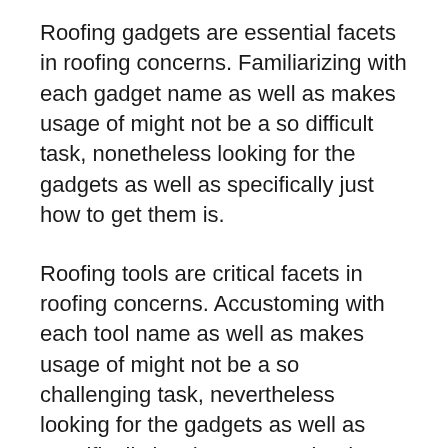Roofing gadgets are essential facets in roofing concerns. Familiarizing with each gadget name as well as makes usage of might not be a so difficult task, nonetheless looking for the gadgets as well as specifically just how to get them is.
Roofing tools are critical facets in roofing concerns. Accustoming with each tool name as well as makes usage of might not be a so challenging task, nevertheless looking for the gadgets as well as specifically just how to acquire them is. If you absolutely prefer your roofing be done totally all right, after that it's a demand to that you uncover as well as likewise go that gadget. A newly established gadget that aids woodworkers in establishing up roof is Thor Roofing Layout Tape.